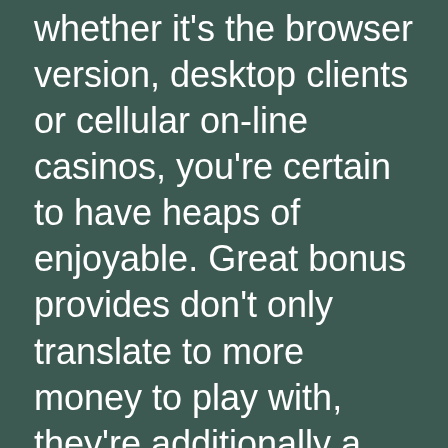whether it's the browser version, desktop clients or cellular on-line casinos, you're certain to have heaps of enjoyable. Great bonus provides don't only translate to more money to play with, they're additionally a telltale signal of properly-established online casinos in the UK.

Our website is a one-stop-shop for all the data you can ever want about online casinos within the UK. That's why you possibly can trust what we are saying about the most effective online casinos — as a result of we evaluate how good we expect a on line casino is to use